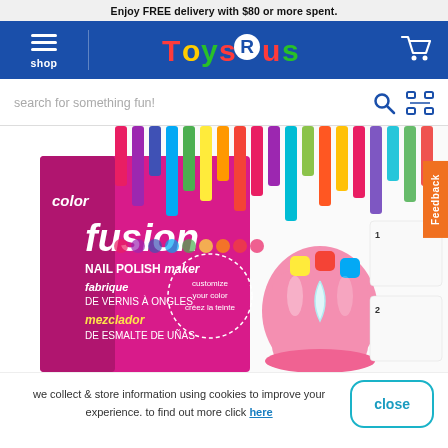Enjoy FREE delivery with $80 or more spent.
[Figure (screenshot): Toys R Us navigation bar with hamburger menu, shop label, Toys R Us logo, and shopping cart icon on blue background]
search for something fun!
[Figure (photo): Color Fusion Nail Polish Maker product box. Box is pink and shows a pink nail polish mixing machine with colored tops. Text on box: color fusion, NAIL POLISH maker, fabrique DE VERNIS À ONGLES, mezclador DE ESMALTE DE UÑAS]
we collect & store information using cookies to improve your experience. to find out more click here
close